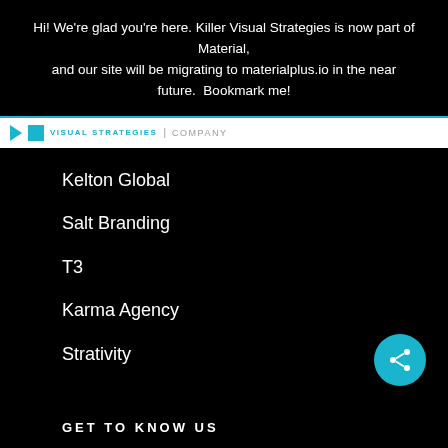Hi! We're glad you're here. Killer Visual Strategies is now part of Material, and our site will be migrating to materialplus.io in the near future.  Bookmark me!
VISUAL STRATEGIES | COMPANY
Kelton Global
Salt Branding
T3
Karma Agency
Strativity
GET TO KNOW US
Our Reputation